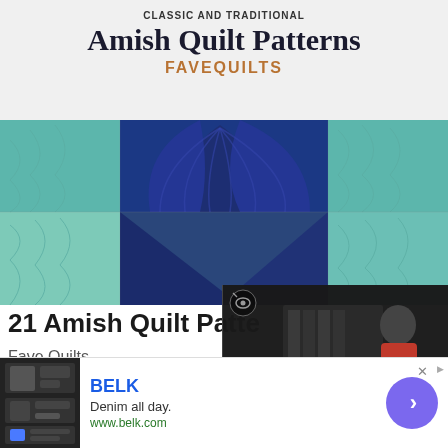CLASSIC AND TRADITIONAL
Amish Quilt Patterns
FAVEQUILTS
[Figure (photo): Amish quilt pattern photo showing teal and navy blue geometric quilt design with curved and rectangular block patterns]
21 Amish Quilt Patte...
Fave Quilts
[Figure (screenshot): Video overlay showing a person in a craft/sewing room setting with play button and mute icon]
[Figure (photo): Photo showing the top of a person's head with gray hair and sunglasses outdoors]
BELK
Denim all day.
www.belk.com